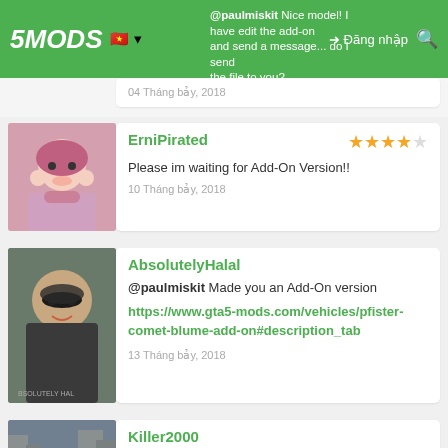5MODS | @paulmiskit Nice model! I have edit the add-on and send a message... do I send the file to you? | Đăng nhập
@paulmiskit Nice model! I have edit the add-on and send a message... do I send the file to you?
04 Tháng bảy, 2018
ErniPirated
Please im waiting for Add-On Version!!
10 Tháng bảy, 2018
AbsolutelyHalal
@paulmiskit Made you an Add-On version
https://www.gta5-mods.com/vehicles/pfister-comet-blume-add-on#description_tab
13 Tháng bảy, 2018
Killer2000
@Portmanteau Customs its down
02 Tháng mười một, 2018